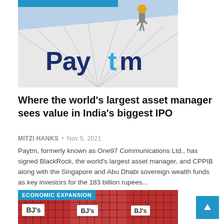[Figure (photo): Paytm banner with a worker on top, large Paytm logo visible on a white fabric banner against a blue sky]
Where the world’s largest asset manager sees value in India’s biggest IPO
MITZI HANKS • Nov 5, 2021
Paytm, formerly known as One97 Communications Ltd., has signed BlackRock, the world's largest asset manager, and CPPIB along with the Singapore and Abu Dhabi sovereign wealth funds as key investors for the 183 billion rupees...
[Figure (photo): BJ’s shopping carts with red lattice design, with ECONOMIC EXPANSION category label overlay]